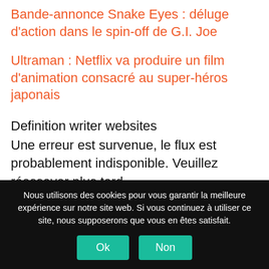Bande-annonce Snake Eyes : déluge d'action dans le spin-off de G.I. Joe
Ultraman : Netflix va produire un film d'animation consacré au super-héros japonais
Definition writer websites
Une erreur est survenue, le flux est probablement indisponible. Veuillez réessayer plus tard.
Nous utilisons des cookies pour vous garantir la meilleure expérience sur notre site web. Si vous continuez à utiliser ce site, nous supposerons que vous en êtes satisfait.
Ok
Non